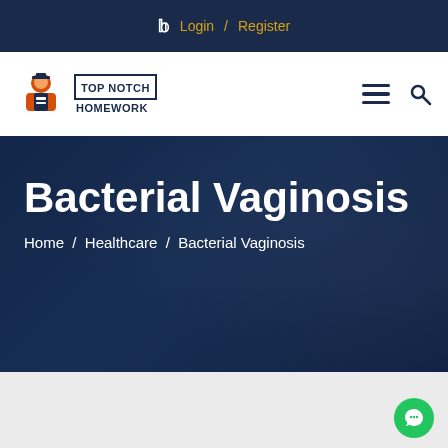🐦 Login / Register
[Figure (logo): Top Notch Homework logo with cartoon student icon and text TOP NOTCH HOMEWORK in a bordered box]
Bacterial Vaginosis
Home / Healthcare / Bacterial Vaginosis